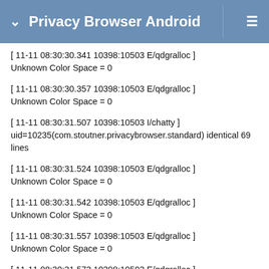Privacy Browser Android
[ 11-11 08:30:30.341 10398:10503 E/qdgralloc ]
Unknown Color Space = 0
[ 11-11 08:30:30.357 10398:10503 E/qdgralloc ]
Unknown Color Space = 0
[ 11-11 08:30:31.507 10398:10503 I/chatty ]
uid=10235(com.stoutner.privacybrowser.standard) identical 69 lines
[ 11-11 08:30:31.524 10398:10503 E/qdgralloc ]
Unknown Color Space = 0
[ 11-11 08:30:31.542 10398:10503 E/qdgralloc ]
Unknown Color Space = 0
[ 11-11 08:30:31.557 10398:10503 E/qdgralloc ]
Unknown Color Space = 0
[ 11-11 08:30:31.573 10398:10503 E/qdgralloc ]
Unknown Color Space = 0
[ 11-11 08:30:31.589 10398:10503 E/qdgralloc ]
Unknown Color Space = 0